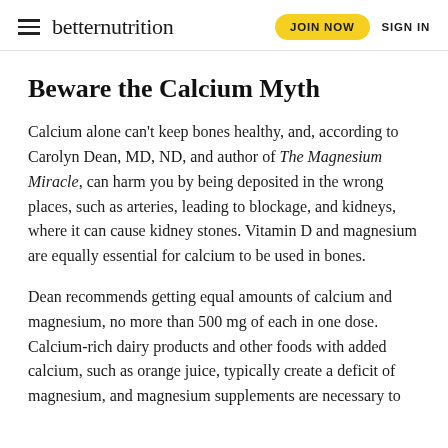betternutrition  JOIN NOW  SIGN IN
Beware the Calcium Myth
Calcium alone can't keep bones healthy, and, according to Carolyn Dean, MD, ND, and author of The Magnesium Miracle, can harm you by being deposited in the wrong places, such as arteries, leading to blockage, and kidneys, where it can cause kidney stones. Vitamin D and magnesium are equally essential for calcium to be used in bones.
Dean recommends getting equal amounts of calcium and magnesium, no more than 500 mg of each in one dose. Calcium-rich dairy products and other foods with added calcium, such as orange juice, typically create a deficit of magnesium, and magnesium supplements are necessary to